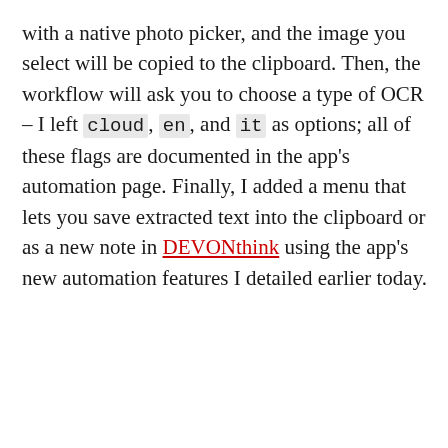with a native photo picker, and the image you select will be copied to the clipboard. Then, the workflow will ask you to choose a type of OCR – I left cloud, en, and it as options; all of these flags are documented in the app's automation page. Finally, I added a menu that lets you save extracted text into the clipboard or as a new note in DEVONthink using the app's new automation features I detailed earlier today.